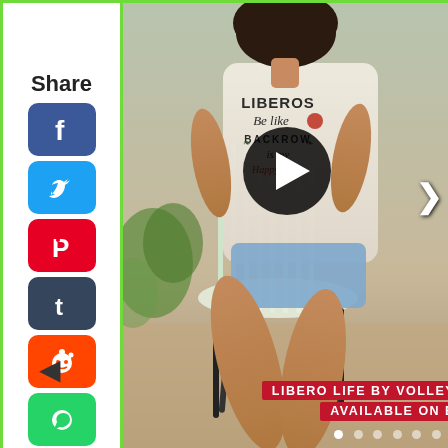Share
[Figure (photo): Woman wearing a cream t-shirt with 'Liberos Be like BACKROW is my Happy Place' volleyball design, sitting on a white wicker chair outdoors. Play button overlay in center. Text overlay at bottom: 'LIBERO LIFE BY VOLLEYBRAGSWAG AVAILABLE ON ETSY'. Social share icons on left sidebar (Facebook, Twitter, Pinterest, Tumblr, Reddit, WhatsApp).]
LIBERO LIFE BY VOLLEYBRAGSWAG AVAILABLE ON ETSY